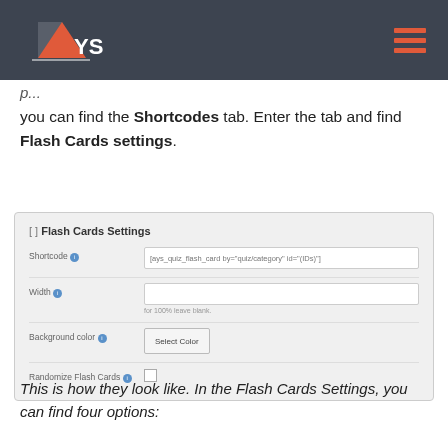AYS
you can find the Shortcodes tab. Enter the tab and find Flash Cards settings.
[Figure (screenshot): Flash Cards Settings panel with fields: Shortcode (pre-filled with [ays_quiz_flash_card by='quiz/category' id='(IDs)']), Width (empty, with hint 'for 100% leave blank'), Background color (Select Color button), Randomize Flash Cards (checkbox).]
This is how they look like. In the Flash Cards Settings, you can find four options: